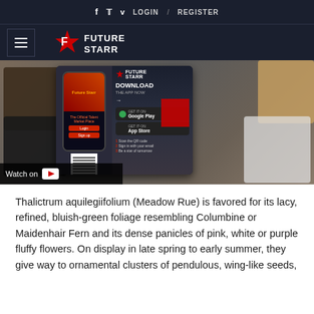f  t  v  LOGIN  /  REGISTER
[Figure (logo): Future Starr logo with star and stylized F, white text on dark navy background, hamburger menu icon on left]
[Figure (screenshot): Composite image showing various animals (bear, bull/cow, tiger, horse, zebra) in background with a Future Starr app download advertisement overlay showing phone mockup, Google Play and App Store buttons, QR code, and a 'Watch on YouTube' player element]
Thalictrum aquilegiifolium (Meadow Rue) is favored for its lacy, refined, bluish-green foliage resembling Columbine or Maidenhair Fern and its dense panicles of pink, white or purple fluffy flowers. On display in late spring to early summer, they give way to ornamental clusters of pendulous, wing-like seeds,